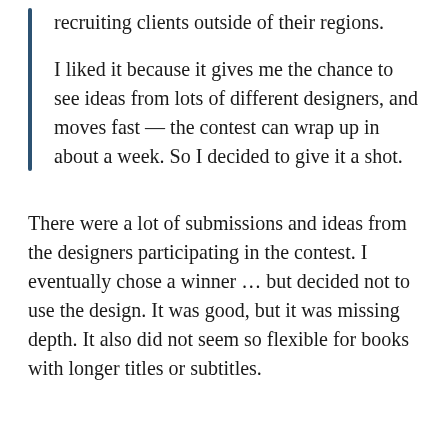recruiting clients outside of their regions.

I liked it because it gives me the chance to see ideas from lots of different designers, and moves fast — the contest can wrap up in about a week. So I decided to give it a shot.
There were a lot of submissions and ideas from the designers participating in the contest. I eventually chose a winner … but decided not to use the design. It was good, but it was missing depth. It also did not seem so flexible for books with longer titles or subtitles.